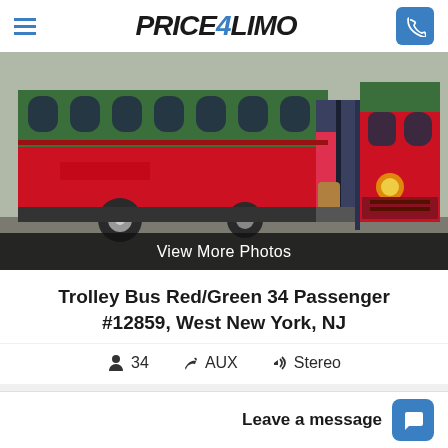PRICE4LIMO
[Figure (photo): Red and green trolley bus parked in a lot, viewed from the side and slightly in front. The bus has a green upper section with arched windows, a red lower body, and an open center door.]
View More Photos
Trolley Bus Red/Green 34 Passenger #12859, West New York, NJ
34  AUX  Stereo
Leave a message